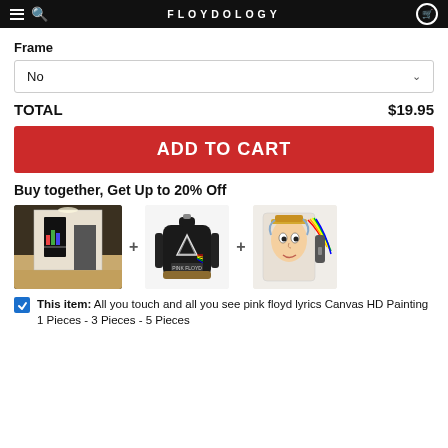FLOYDOLOGY
Frame
No
TOTAL   $19.95
ADD TO CART
Buy together, Get Up to 20% Off
[Figure (photo): Pink Floyd canvas wall art in a modern hallway]
[Figure (photo): Black Pink Floyd Dark Side of the Moon backpack]
[Figure (photo): Pink Floyd colorful wallet/phone case]
This item: All you touch and all you see pink floyd lyrics Canvas HD Painting 1 Pieces - 3 Pieces - 5 Pieces